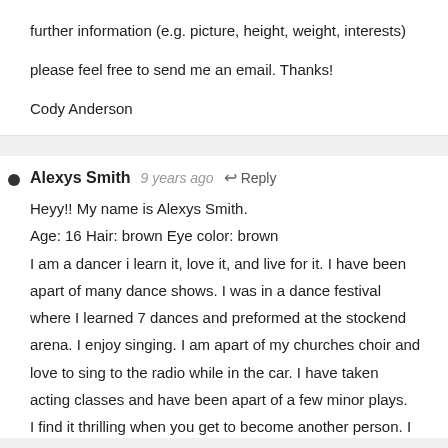further information (e.g. picture, height, weight, interests) please feel free to send me an email. Thanks!
Cody Anderson
Alexys Smith · 9 years ago · Reply
Heyy!! My name is Alexys Smith.
Age: 16 Hair: brown Eye color: brown
I am a dancer i learn it, love it, and live for it. I have been apart of many dance shows. I was in a dance festival where I learned 7 dances and preformed at the stockend arena. I enjoy singing. I am apart of my churches choir and love to sing to the radio while in the car. I have taken acting classes and have been apart of a few minor plays. I find it thrilling when you get to become another person. I